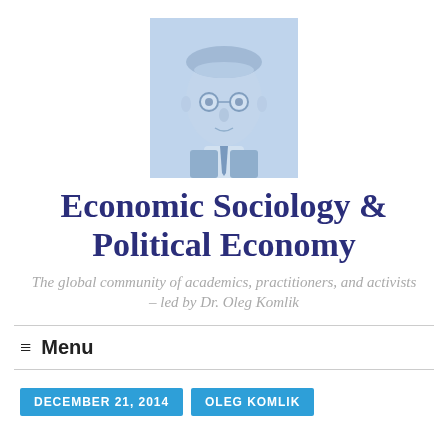[Figure (photo): Sepia/blue-tinted vintage portrait photo of a man with round glasses, wearing a suit, used as the site logo or header image.]
Economic Sociology & Political Economy
The global community of academics, practitioners, and activists – led by Dr. Oleg Komlik
≡ Menu
DECEMBER 21, 2014
OLEG KOMLIK